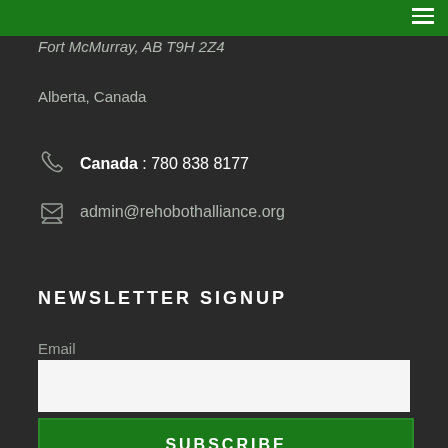Fort McMurray, AB T9H 2Z4
Alberta, Canada
Canada : 780 838 8177
admin@rehobothalliance.org
NEWSLETTER SIGNUP
Email